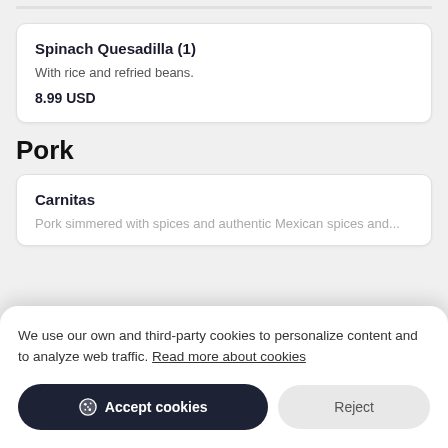Spinach Quesadilla (1)
With rice and refried beans.
8.99 USD
Pork
Carnitas
We use our own and third-party cookies to personalize content and to analyze web traffic. Read more about cookies
Accept cookies
Reject